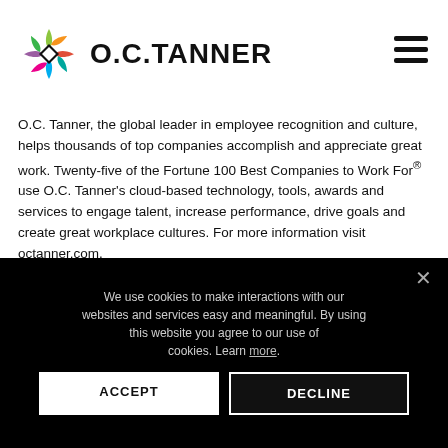[Figure (logo): O.C. Tanner logo with colorful star/diamond icon and bold text 'O.C.TANNER']
O.C. Tanner, the global leader in employee recognition and culture, helps thousands of top companies accomplish and appreciate great work. Twenty-five of the Fortune 100 Best Companies to Work For® use O.C. Tanner's cloud-based technology, tools, awards and services to engage talent, increase performance, drive goals and create great workplace cultures. For more information visit octanner.com.
About Great Place to Work
We use cookies to make interactions with our websites and services easy and meaningful. By using this website you agree to our use of cookies. Learn more.